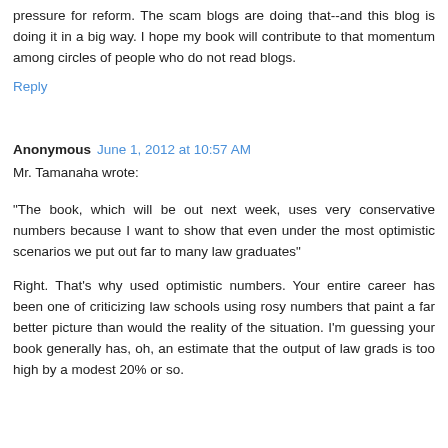pressure for reform. The scam blogs are doing that--and this blog is doing it in a big way. I hope my book will contribute to that momentum among circles of people who do not read blogs.
Reply
Anonymous  June 1, 2012 at 10:57 AM
Mr. Tamanaha wrote:
"The book, which will be out next week, uses very conservative numbers because I want to show that even under the most optimistic scenarios we put out far to many law graduates"
Right. That's why used optimistic numbers. Your entire career has been one of criticizing law schools using rosy numbers that paint a far better picture than would the reality of the situation. I'm guessing your book generally has, oh, an estimate that the output of law grads is too high by a modest 20% or so.